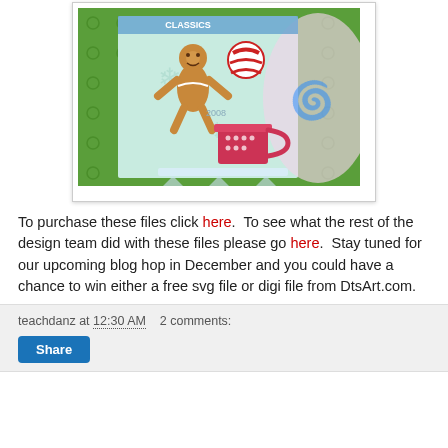[Figure (photo): Christmas craft card featuring a gingerbread man, candy cane, and red polka-dot cup on a green and teal patterned background, displayed on a clear acrylic stand]
To purchase these files click here.  To see what the rest of the design team did with these files please go here.  Stay tuned for our upcoming blog hop in December and you could have a chance to win either a free svg file or digi file from DtsArt.com.
teachdanz at 12:30 AM   2 comments:   Share